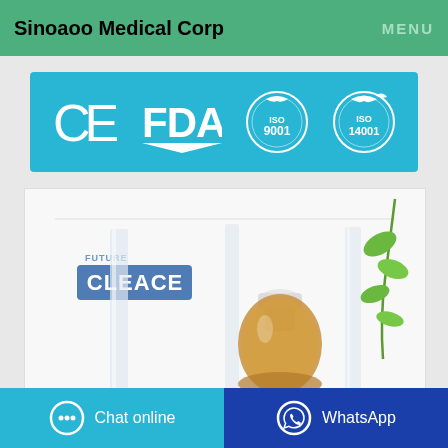Sinoaoo Medical Corp  MENU
[Figure (logo): Certification banner showing CE, FDA, ISO 9001, and ISO 14001 logos on a cyan/teal background]
[Figure (photo): Product photo showing a bottle of liquid (amber-colored) with CLEACE brand label, flanked by glass laboratory equipment, with a green plant branch in the background]
Chat online
WhatsApp